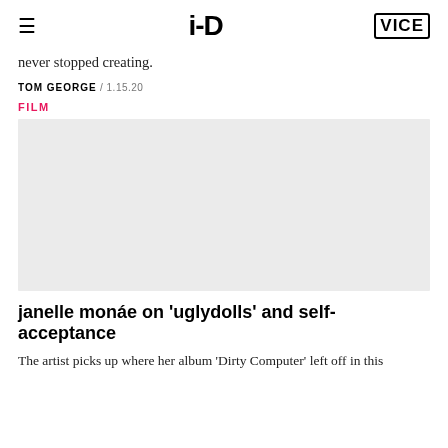i-D  VICE
never stopped creating.
TOM GEORGE / 1.15.20
FILM
[Figure (photo): Gray placeholder image for film content]
janelle monáe on 'uglydolls' and self-acceptance
The artist picks up where her album 'Dirty Computer' left off in this